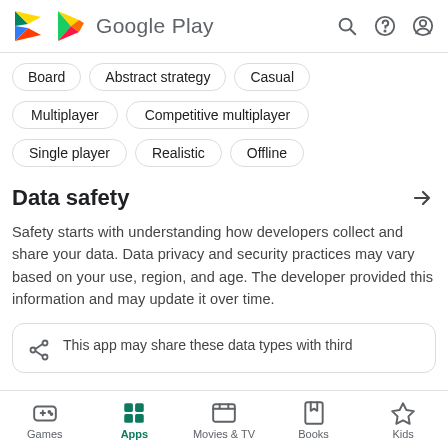Google Play
Board
Abstract strategy
Casual
Multiplayer
Competitive multiplayer
Single player
Realistic
Offline
Data safety
Safety starts with understanding how developers collect and share your data. Data privacy and security practices may vary based on your use, region, and age. The developer provided this information and may update it over time.
This app may share these data types with third
Games  Apps  Movies & TV  Books  Kids